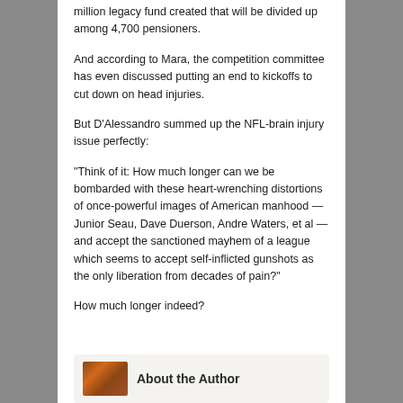million legacy fund created that will be divided up among 4,700 pensioners.
And according to Mara, the competition committee has even discussed putting an end to kickoffs to cut down on head injuries.
But D'Alessandro summed up the NFL-brain injury issue perfectly:
“Think of it: How much longer can we be bombarded with these heart-wrenching distortions of once-powerful images of American manhood — Junior Seau, Dave Duerson, Andre Waters, et al — and accept the sanctioned mayhem of a league which seems to accept self-inflicted gunshots as the only liberation from decades of pain?”
How much longer indeed?
[Figure (illustration): About the Author section with small book cover image on the left and 'About the Author' text on the right]